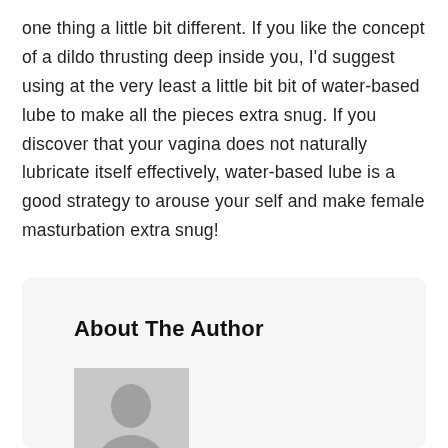one thing a little bit different. If you like the concept of a dildo thrusting deep inside you, I'd suggest using at the very least a little bit bit of water-based lube to make all the pieces extra snug. If you discover that your vagina does not naturally lubricate itself effectively, water-based lube is a good strategy to arouse your self and make female masturbation extra snug!
About The Author
[Figure (illustration): Generic grey placeholder avatar showing a silhouette of a person (head and shoulders) on a grey background]